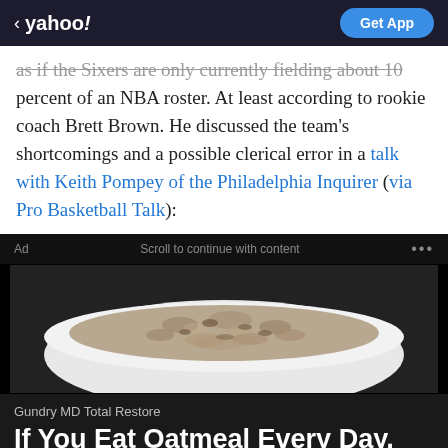< yahoo! | Get App
as if the Sixers are only currently fielding about 10 percent of an NBA roster. At least according to rookie coach Brett Brown. He discussed the team's shortcomings and a possible clerical error in a talk with Keith Pompey of the Philadelphia Inquirer (via Pro Basketball Talk):
[Figure (photo): Ad banner showing a bowl of oatmeal from above, on a dark background. Ad bar reads 'Ad ... Scroll to continue with content ...']
Gundry MD Total Restore
If You Eat Oatmeal Every Day, This Is What